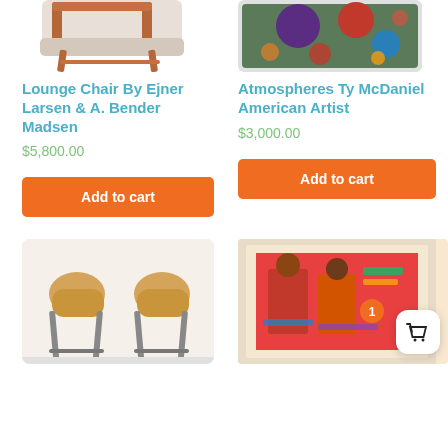[Figure (photo): Top portion of a wooden lounge chair with brown/red frame, cropped at the bottom]
[Figure (photo): Colorful painting with large abstract circles in purple, red, orange, blue on olive/dark green background, framed in white]
Lounge Chair By Ejner Larsen & A. Bender Madsen
$5,800.00
Add to cart
Atmospheres Ty McDaniel American Artist
$3,000.00
Add to cart
[Figure (photo): Two Eames DCM style molded plywood chairs with metal legs against a white wall]
[Figure (photo): Colorful pop-art style framed print in a light wood frame showing figures, with an orange badge showing number 1 and a shopping basket button overlay]